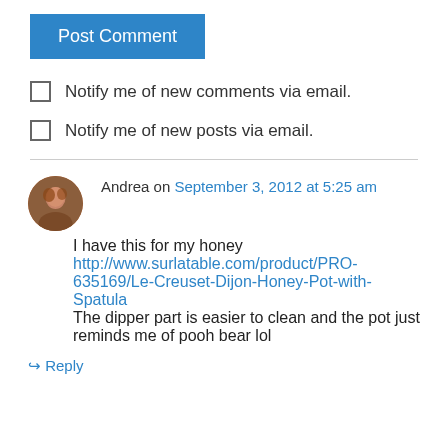Post Comment
Notify me of new comments via email.
Notify me of new posts via email.
Andrea on September 3, 2012 at 5:25 am
I have this for my honey http://www.surlatable.com/product/PRO-635169/Le-Creuset-Dijon-Honey-Pot-with-Spatula The dipper part is easier to clean and the pot just reminds me of pooh bear lol
Reply